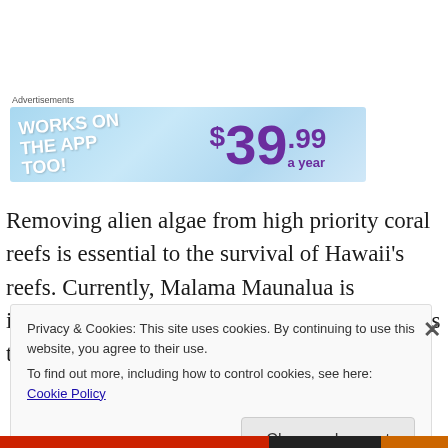[Figure (illustration): Advertisement banner with light blue gradient background. Left side has white bold text 'WORKS ON THE APP TOO!' at an angle. Right side shows price '$39.99 a year' in purple bold text.]
Removing alien algae from high priority coral reefs is essential to the survival of Hawaii's reefs. Currently, Malama Maunalua is implementing a number of measures to address this quickly growing problem.
Privacy & Cookies: This site uses cookies. By continuing to use this website, you agree to their use.
To find out more, including how to control cookies, see here: Cookie Policy
Close and accept